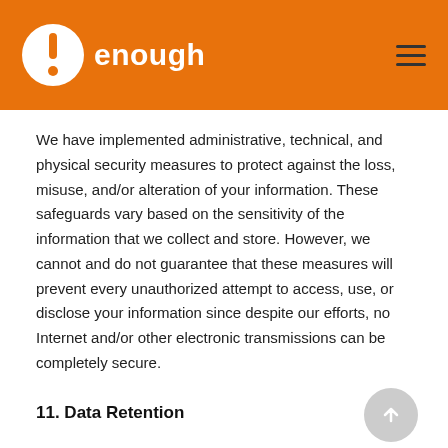enough
We have implemented administrative, technical, and physical security measures to protect against the loss, misuse, and/or alteration of your information. These safeguards vary based on the sensitivity of the information that we collect and store. However, we cannot and do not guarantee that these measures will prevent every unauthorized attempt to access, use, or disclose your information since despite our efforts, no Internet and/or other electronic transmissions can be completely secure.
11. Data Retention
We will hold your information for as long as necessary to fulfill the purposes set forth in this Policy or as long as we are legally required or permitted to do so. Information may persist in copies made for backup and business continuity purposes for additional